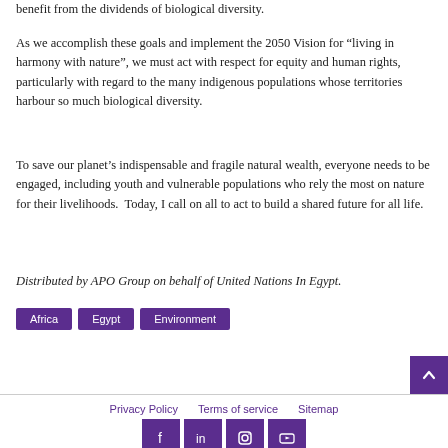benefit from the dividends of biological diversity.
As we accomplish these goals and implement the 2050 Vision for “living in harmony with nature”, we must act with respect for equity and human rights, particularly with regard to the many indigenous populations whose territories harbour so much biological diversity.
To save our planet’s indispensable and fragile natural wealth, everyone needs to be engaged, including youth and vulnerable populations who rely the most on nature for their livelihoods. Today, I call on all to act to build a shared future for all life.
Distributed by APO Group on behalf of United Nations In Egypt.
Africa  Egypt  Environment
Privacy Policy  Terms of service  Sitemap